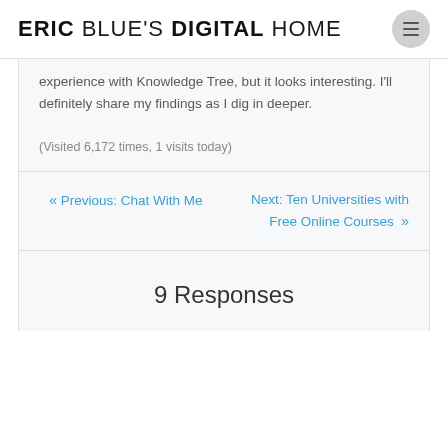ERIC BLUE'S DIGITAL HOME
experience with Knowledge Tree, but it looks interesting. I'll definitely share my findings as I dig in deeper.

(Visited 6,172 times, 1 visits today)
« Previous: Chat With Me
Next: Ten Universities with Free Online Courses »
9 Responses